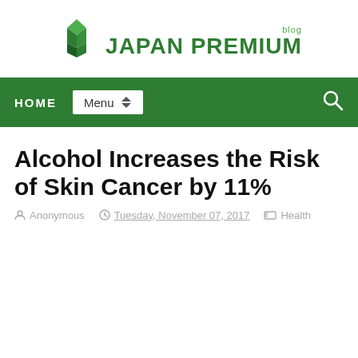[Figure (logo): Japan Premium Blog logo with green geometric leaf/diamond icon and text 'blog JAPAN PREMIUM']
[Figure (screenshot): Green navigation bar with HOME, Menu dropdown, and search icon]
Alcohol Increases the Risk of Skin Cancer by 11%
Anonymous  Tuesday, November 07, 2017  Health